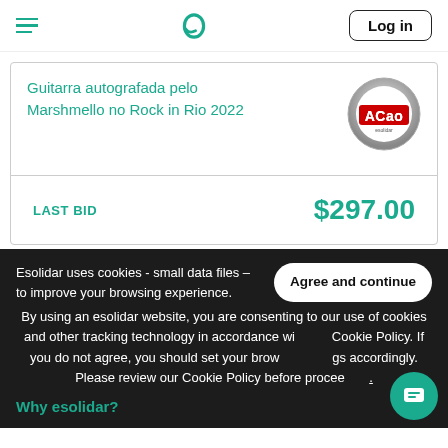Menu | e (logo) | Log in
Guitarra autografada pelo Marshmello no Rock in Rio 2022
[Figure (logo): ACao logo - circular badge with red and white lettering on metallic background]
LAST BID   $297.00
Esolidar uses cookies - small data files – to improve your browsing experience. By using an esolidar website, you are consenting to our use of cookies and other tracking technology in accordance with our Cookie Policy. If you do not agree, you should set your browser settings accordingly. Please review our Cookie Policy before proceeding.
Why esolidar?